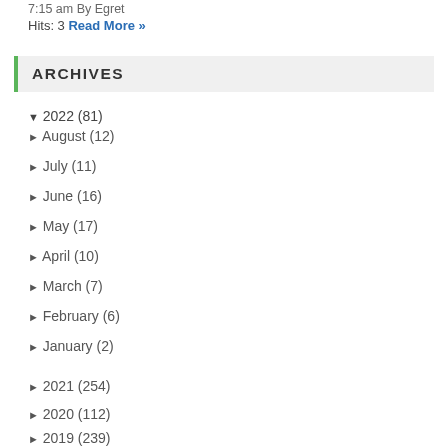7:15 am By Egret
Hits: 3 Read More »
ARCHIVES
▼ 2022 (81)
► August (12)
► July (11)
► June (16)
► May (17)
► April (10)
► March (7)
► February (6)
► January (2)
► 2021 (254)
► 2020 (112)
► 2019 (239)